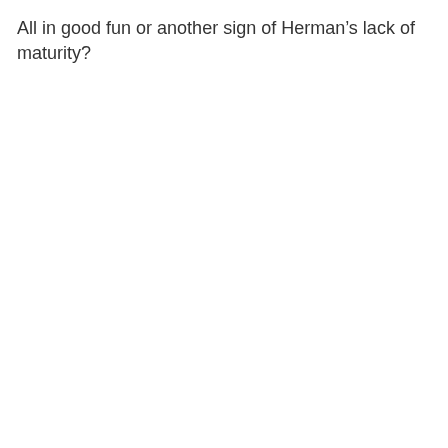All in good fun or another sign of Herman's lack of maturity?